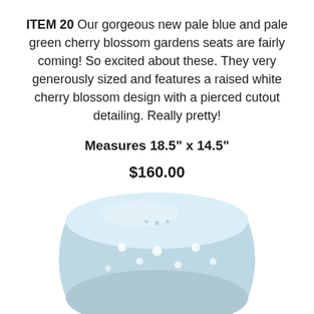ITEM 20 Our gorgeous new pale blue and pale green cherry blossom gardens seats are fairly coming! So excited about these. They very generously sized and features a raised white cherry blossom design with a pierced cutout detailing. Really pretty!
Measures 18.5" x 14.5"
$160.00
[Figure (photo): A pale blue ceramic garden seat with raised white cherry blossom design and pierced cutout detailing, viewed from above/side angle showing its barrel shape.]